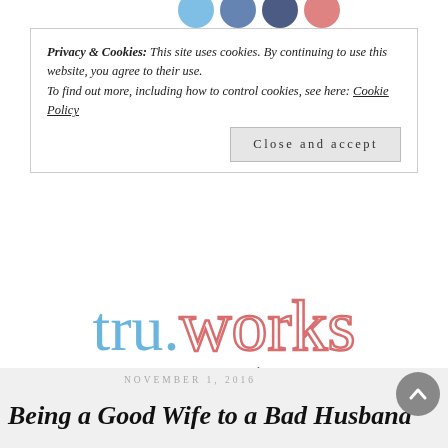[Figure (screenshot): Four social media icon circles (light blue, dark blue, navy, red/pink) partially visible at top of page]
Privacy & Cookies: This site uses cookies. By continuing to use this website, you agree to their use.
To find out more, including how to control cookies, see here: Cookie Policy
Close and accept
[Figure (logo): tru.works logo — 'tru.' in light blue handwritten font, 'works' in large pink outlined/stroke handwritten font, with 'www.tru.works' below]
Tru.Works is for the artists and creatives.
These stories are raw and lightly edited.
Please forgive any grammar mistakes written by the authors.
NOVEMBER 1, 2016
Being a Good Wife to a Bad Husband